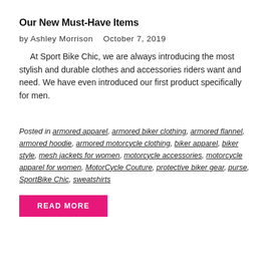Our New Must-Have Items
by Ashley Morrison   October 7, 2019
At Sport Bike Chic, we are always introducing the most stylish and durable clothes and accessories riders want and need. We have even introduced our first product specifically for men.
Posted in armored apparel, armored biker clothing, armored flannel, armored hoodie, armored motorcycle clothing, biker apparel, biker style, mesh jackets for women, motorcycle accessories, motorcycle apparel for women, MotorCycle Couture, protective biker gear, purse, SportBike Chic, sweatshirts
READ MORE